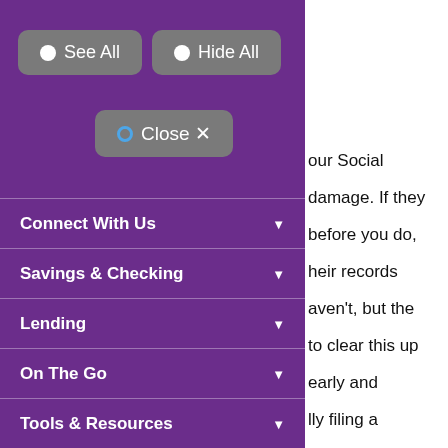[Figure (screenshot): Purple navigation overlay panel with 'See All', 'Hide All', and 'Close' toggle buttons at top, followed by navigation menu items: Connect With Us, Savings & Checking, Lending, On The Go, Tools & Resources, each with a dropdown arrow. Right side shows partial white page with text fragments about Social Security and a green button.]
our Social
damage. If they
before you do,
heir records
aven't, but the
to clear this up
early and
lly filing a
JR
Connect With Us
Savings & Checking
Lending
On The Go
Tools & Resources